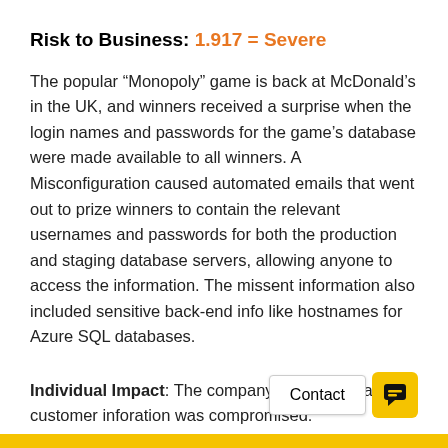Risk to Business: 1.917 = Severe
The popular “Monopoly” game is back at McDonald’s in the UK, and winners received a surprise when the login names and passwords for the game’s database were made available to all winners. A Misconfiguration caused automated emails that went out to prize winners to contain the relevant usernames and passwords for both the production and staging database servers, allowing anyone to access the information. The missent information also included sensitive back-end info like hostnames for Azure SQL databases.
Individual Impact: The company contends that no customer inforation was compromised.
Customers Impacted: Unknown